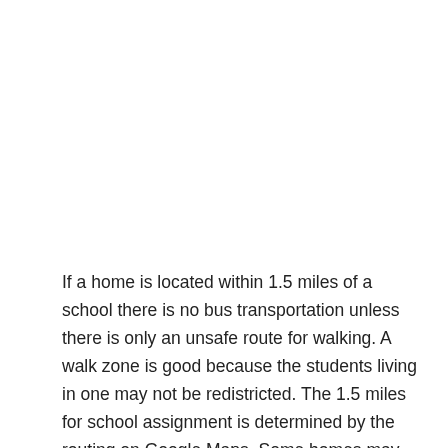If a home is located within 1.5 miles of a school there is no bus transportation unless there is only an unsafe route for walking. A walk zone is good because the students living in one may not be redistricted. The 1.5 miles for school assignment is determined by the routing on Google Maps. Some homes may be within 1.5 miles through a path in the woods but longer by the